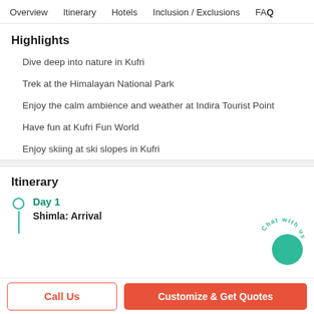Overview  Itinerary  Hotels  Inclusion / Exclusions  FAQ
Highlights
Dive deep into nature in Kufri
Trek at the Himalayan National Park
Enjoy the calm ambience and weather at Indira Tourist Point
Have fun at Kufri Fun World
Enjoy skiing at ski slopes in Kufri
Itinerary
Day 1
Shimla: Arrival